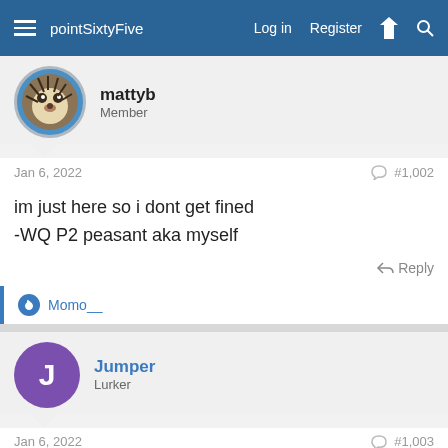pointSixtyFive   Log in   Register
mattyb
Member
Jan 6, 2022   #1,002
im just here so i dont get fined
-WQ P2 peasant aka myself
Reply
Momo__
Jumper
Lurker
Jan 6, 2022   #1,003
Hey everyone quick question I'm currently a tso will the process (hypothetically) be more smoother compared to a civilian since i